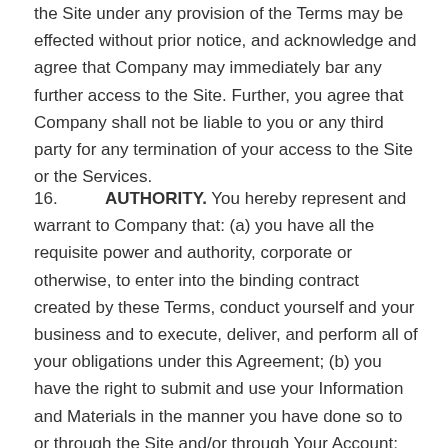the Site under any provision of the Terms may be effected without prior notice, and acknowledge and agree that Company may immediately bar any further access to the Site. Further, you agree that Company shall not be liable to you or any third party for any termination of your access to the Site or the Services.
16.        AUTHORITY. You hereby represent and warrant to Company that: (a) you have all the requisite power and authority, corporate or otherwise, to enter into the binding contract created by these Terms, conduct yourself and your business and to execute, deliver, and perform all of your obligations under this Agreement; (b) you have the right to submit and use your Information and Materials in the manner you have done so to or through the Site and/or through Your Account; (c) you have the right to grant the licenses granted